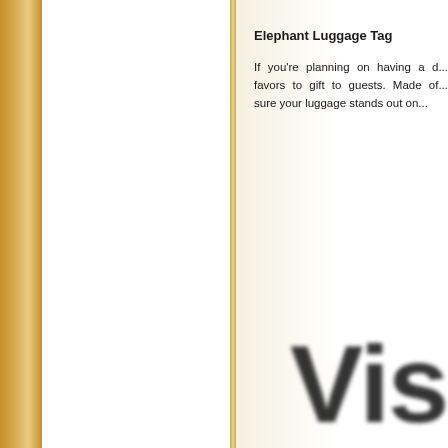Elephant Luggage Tag
If you're planning on having a d... favors to gift to guests. Made of... sure your luggage stands out on...
[Figure (illustration): Large blurred text reading 'Visit' partially visible at bottom right of page, styled as a watermark or partially cropped image element]